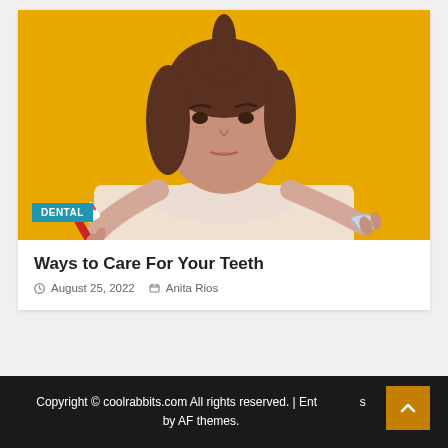[Figure (photo): Young woman with brunette hair in a high ponytail against a yellow/orange background, holding a red toothbrush in one hand and a dental retainer in the other, wearing a white knit sweater, with a thoughtful expression. A blue 'DENTAL' badge overlays the bottom-left of the image.]
Ways to Care For Your Teeth
August 25, 2022   Anita Rios
Copyright © coolrabbits.com All rights reserved. | Ent... s by AF themes.